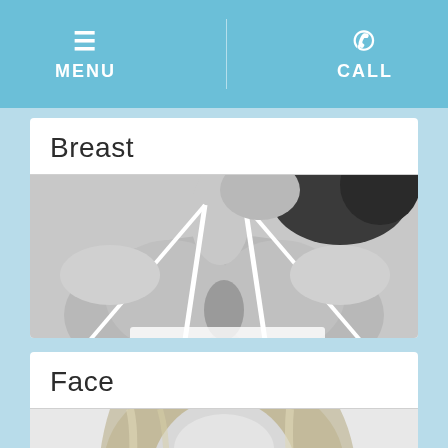MENU  |  CALL
Breast
[Figure (photo): Black and white photo of a woman in a white halter-top bikini, showing chest and neck area]
Face
[Figure (photo): Black and white portrait photo of a smiling blonde woman looking at the camera]